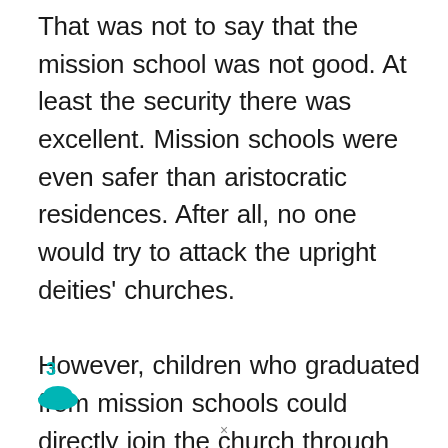That was not to say that the mission school was not good. At least the security there was excellent. Mission schools were even safer than aristocratic residences. After all, no one would try to attack the upright deities' churches.

However, children who graduated from mission schools could directly join the church through internal channels if they performed well. They got to skip the preparatory phase of deacon and start directly as a priest— the official priest who